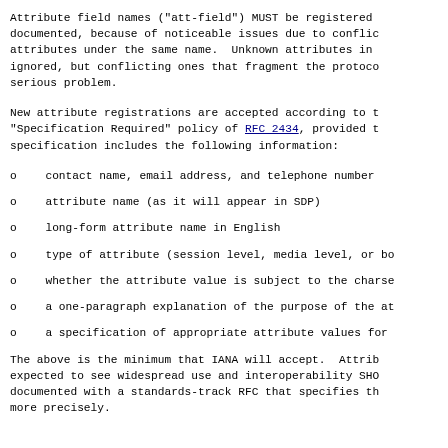Attribute field names ("att-field") MUST be registered documented, because of noticeable issues due to conflic attributes under the same name.  Unknown attributes in ignored, but conflicting ones that fragment the protoco serious problem.
New attribute registrations are accepted according to t "Specification Required" policy of RFC 2434, provided t specification includes the following information:
contact name, email address, and telephone number
attribute name (as it will appear in SDP)
long-form attribute name in English
type of attribute (session level, media level, or bo
whether the attribute value is subject to the charse
a one-paragraph explanation of the purpose of the at
a specification of appropriate attribute values for
The above is the minimum that IANA will accept.  Attrib expected to see widespread use and interoperability SHO documented with a standards-track RFC that specifies th more precisely.